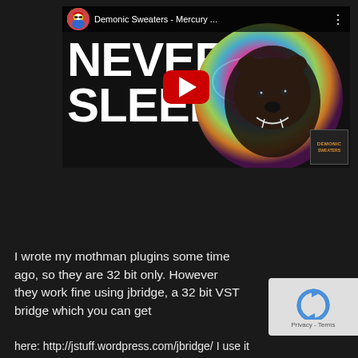[Figure (screenshot): YouTube video thumbnail/player showing 'NEVER SLEEP' text with a bear-wolf creature overlaid on a colorful planet/moon sphere, YouTube play button visible, channel name 'Demonic Sweaters - Mercury ...' in the top bar]
I wrote my mothman plugins some time ago, so they are 32 bit only. However they work fine using jbridge, a 32 bit VST bridge which you can get
here: http://jstuff.wordpress.com/jbridge/ I use it myself, and it works.